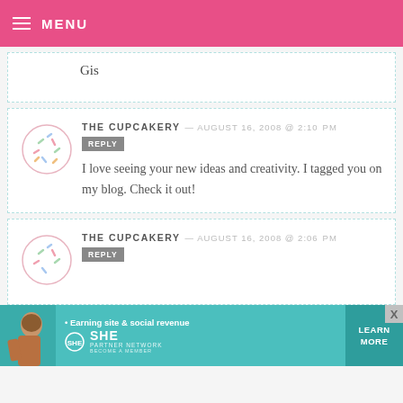MENU
Gis
THE CUPCAKERY — AUGUST 16, 2008 @ 2:10 PM  REPLY
I love seeing your new ideas and creativity. I tagged you on my blog. Check it out!
THE CUPCAKERY — AUGUST 16, 2008 @ 2:06 PM  REPLY
[Figure (infographic): SHE Partner Network advertisement banner with teal background, woman photo, bullet point 'Earning site & social revenue', SHE logo, LEARN MORE button]